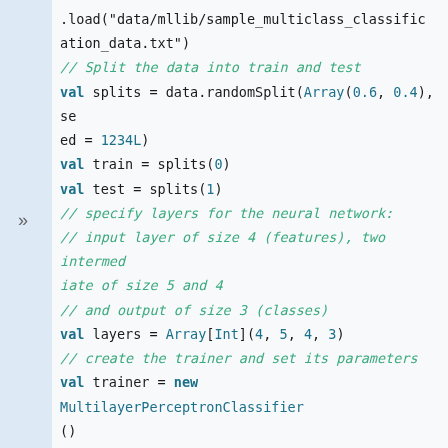[Figure (screenshot): Code block showing Scala/Spark code for loading data, splitting into train/test sets, specifying neural network layers, creating a MultilayerPerceptronClassifier trainer, and training the model.]